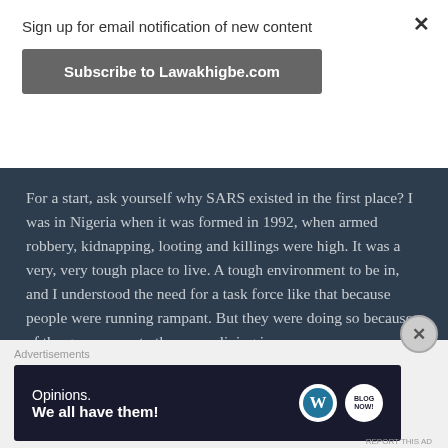Sign up for email notification of new content
Subscribe to Lawakhigbe.com
For a start, ask yourself why SARS existed in the first place? I was in Nigeria when it was formed in 1992, when armed robbery, kidnapping, looting and killings were high. It was a very, very tough place to live. A tough environment to be in, and I understood the need for a task force like that because people were running rampant. But they were doing so because of the grave poverty they were living in.
Advertisements
[Figure (infographic): WordPress advertisement banner with text 'Opinions. We all have them!' and WordPress and another logo on dark background]